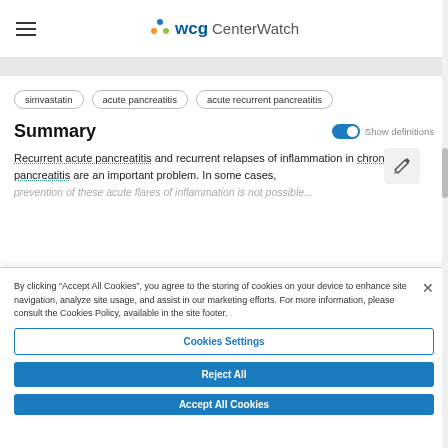WCG CenterWatch
simvastatin
acute pancreatitis
acute recurrent pancreatitis
Summary
Recurrent acute pancreatitis and recurrent relapses of inflammation in chronic pancreatitis are an important problem. In some cases, prevention of these acute flares of inflammation is not possible...
By clicking “Accept All Cookies”, you agree to the storing of cookies on your device to enhance site navigation, analyze site usage, and assist in our marketing efforts. For more information, please consult the Cookies Policy, available in the site footer.
Cookies Settings
Reject All